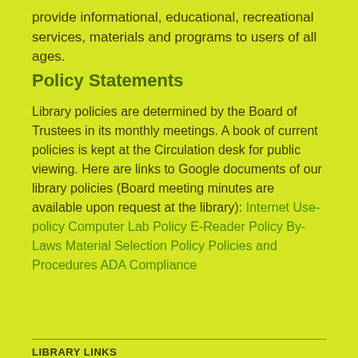provide informational, educational, recreational services, materials and programs to users of all ages.
Policy Statements
Library policies are determined by the Board of Trustees in its monthly meetings. A book of current policies is kept at the Circulation desk for public viewing. Here are links to Google documents of our library policies (Board meeting minutes are available upon request at the library): Internet Use-policy Computer Lab Policy E-Reader Policy By-Laws Material Selection Policy Policies and Procedures ADA Compliance
LIBRARY LINKS
Kansas State Library
CARD CATALOG